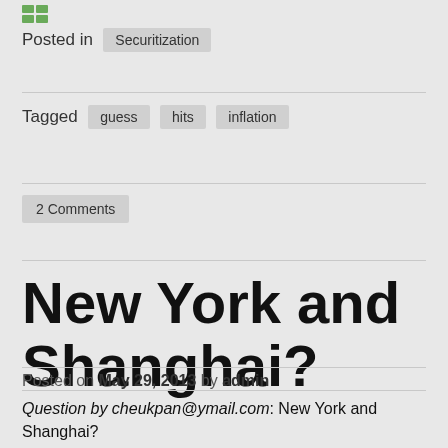Posted in  Securitization
Tagged  guess  hits  inflation
2 Comments
New York and Shanghai?
Posted on May 29, 2013 by admin
Question by cheukpan@ymail.com: New York and Shanghai?